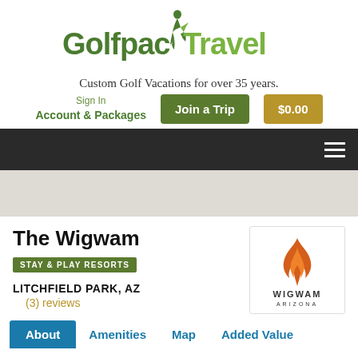[Figure (logo): Golfpac Travel logo with golfer silhouette icon, green gradient text]
Custom Golf Vacations for over 35 years.
Sign In
Account & Packages
Join a Trip
$0.00
[Figure (logo): Wigwam Arizona resort logo with orange flame/W icon]
The Wigwam
STAY & PLAY RESORTS
LITCHFIELD PARK, AZ
(3) reviews
About	Amenities	Map	Added Value